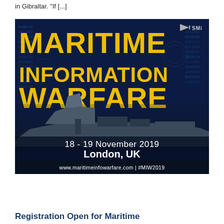in Gibraltar. "If [...]"
[Figure (illustration): Advertisement banner for Maritime Information Warfare conference. Dark blue background with digital code pattern. Large yellow distressed text reads 'MARITIME INFORMATION WARFARE'. A naval ship silhouette is visible in the lower portion. Text shows '18 - 19 November 2019, London, UK'. Bottom bar shows 'www.maritimeinfowarfare.com | #MIW2019'. SMI logo in top right corner.]
Registration Open for Maritime